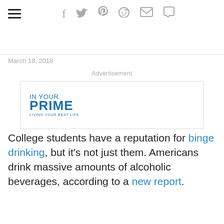March 18, 2018
[Figure (other): Advertisement banner for 'In Your Prime - Living Your Best Life']
College students have a reputation for binge drinking, but it's not just them. Americans drink massive amounts of alcoholic beverages, according to a new report.